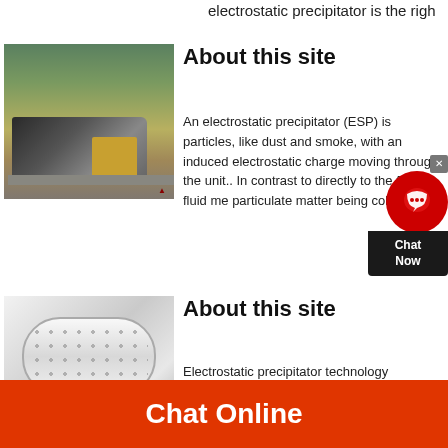electrostatic precipitator is the right
[Figure (photo): Outdoor mining or quarrying site with heavy machinery and yellow excavator, trees visible in background, small red logo at bottom right]
About this site
An electrostatic precipitator (ESP) is particles, like dust and smoke, with an induced electrostatic charge moving through the unit.. In contrast to directly to the flowing fluid me particulate matter being collected a
[Figure (screenshot): Chat Now customer support widget overlay with red circle icon and dark box showing 'Chat Now' text]
[Figure (photo): Large white cylindrical industrial tank or ball mill with bolt patterns visible on surface]
About this site
Electrostatic precipitator technology technology in the power industry be amount of flue gas, high PM remo
Chat Online